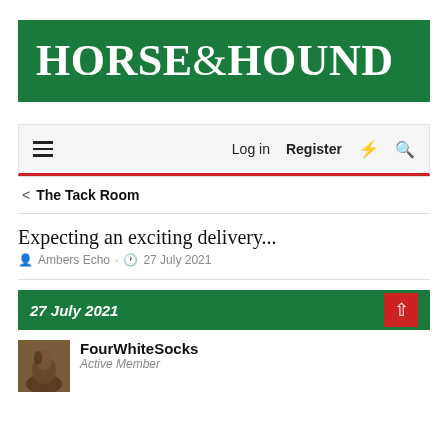[Figure (logo): Horse & Hound magazine logo — white serif text on dark green background]
Log in  Register
< The Tack Room
Expecting an exciting delivery...
Ambers Echo · 27 July 2021
27 July 2021
FourWhiteSocks